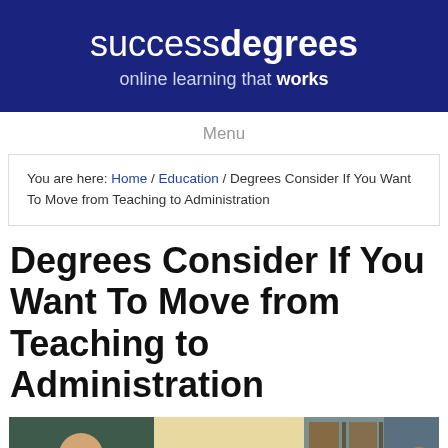[Figure (logo): successdegrees logo on dark navy blue background with tagline 'online learning that works']
Menu
You are here: Home / Education / Degrees Consider If You Want To Move from Teaching to Administration
Degrees Consider If You Want To Move from Teaching to Administration
[Figure (photo): Banner image with children and teacher on left, 'A Career In Education' text in center on tan background, student and teacher in library on right]